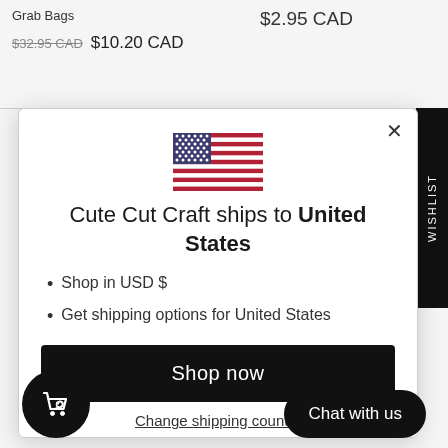Grab Bags
$32.95 CAD  $10.20 CAD
$2.95 CAD
[Figure (screenshot): Modal dialog showing US flag, shipping info for United States, Shop now button, Change shipping country link]
Cute Cut Craft ships to United States
Shop in USD $
Get shipping options for United States
Shop now
Change shipping country
Chat with us